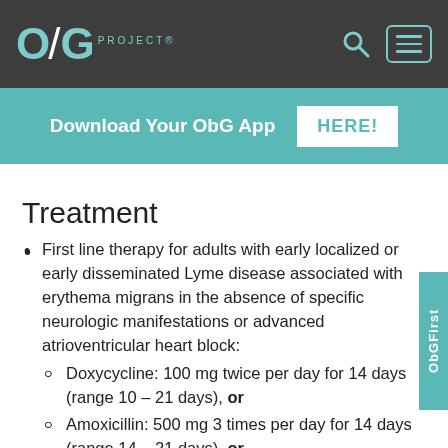OBG PROJECT®
Download Your ObG App HERE!
Treatment
First line therapy for adults with early localized or early disseminated Lyme disease associated with erythema migrans in the absence of specific neurologic manifestations or advanced atrioventricular heart block:
Doxycycline: 100 mg twice per day for 14 days (range 10 – 21 days), or
Amoxicillin: 500 mg 3 times per day for 14 days (range 14 – 21 days), or